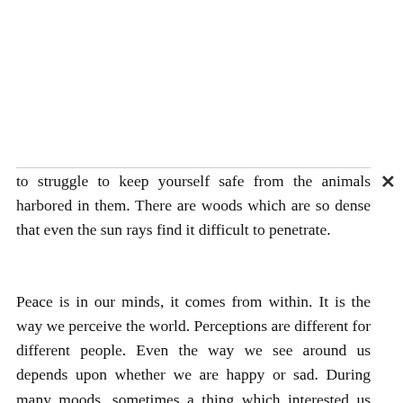to struggle to keep yourself safe from the animals harbored in them. There are woods which are so dense that even the sun rays find it difficult to penetrate.
Peace is in our minds, it comes from within. It is the way we perceive the world. Perceptions are different for different people. Even the way we see around us depends upon whether we are happy or sad. During many moods, sometimes a thing which interested us greatly once holds no interest at a later time. Sometimes emotions seem to be cyclic in nature. We are interested in a particular thing, then lose interest in it and again some events happen which recreate the interest again.